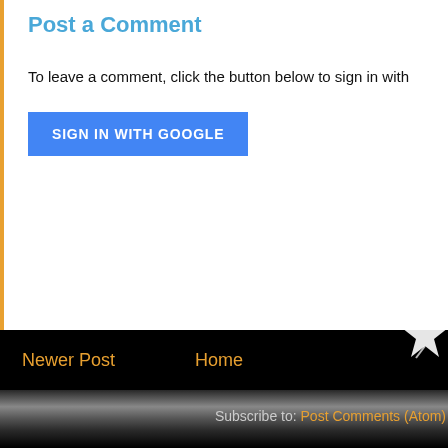Post a Comment
To leave a comment, click the button below to sign in with
SIGN IN WITH GOOGLE
Newer Post
Home
Subscribe to: Post Comments (Atom)